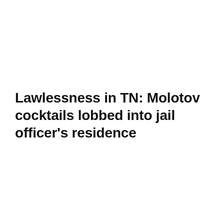Lawlessness in TN: Molotov cocktails lobbed into jail officer's residence